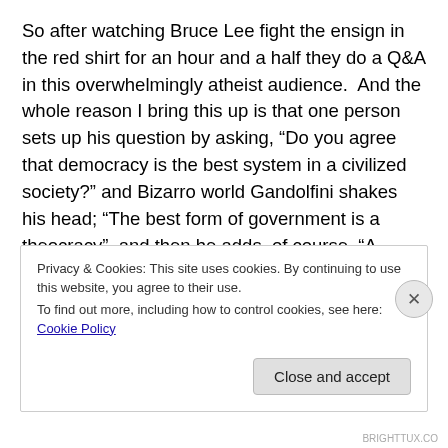So after watching Bruce Lee fight the ensign in the red shirt for an hour and a half they do a Q&A in this overwhelmingly atheist audience.  And the whole reason I bring this up is that one person sets up his question by asking, “Do you agree that democracy is the best system in a civilized society?” and Bizarro world Gandolfini shakes his head; “The best form of government is a theocracy”, and then he adds, of course, “A Christian theocracy.”

The whole audience gasped, but I doubt any of them were shocked that he believed that.  I think they were just
Privacy & Cookies: This site uses cookies. By continuing to use this website, you agree to their use.
To find out more, including how to control cookies, see here: Cookie Policy
Close and accept